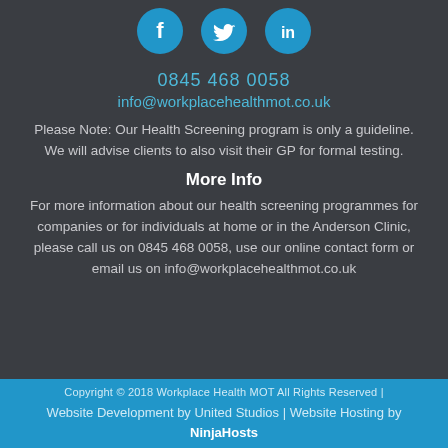[Figure (illustration): Three circular blue social media icons: Facebook (f), Twitter (bird), LinkedIn (in)]
0845 468 0058
info@workplacehealthmot.co.uk
Please Note: Our Health Screening program is only a guideline. We will advise clients to also visit their GP for formal testing.
More Info
For more information about our health screening programmes for companies or for individuals at home or in the Anderson Clinic, please call us on 0845 468 0058, use our online contact form or email us on info@workplacehealthmot.co.uk
Copyright © 2018 Workplace Health MOT All Rights Reserved | Website Development by United Studios | Website Hosting by NinjaHosts